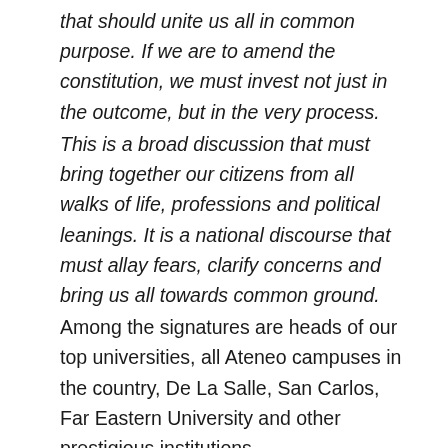that should unite us all in common purpose. If we are to amend the constitution, we must invest not just in the outcome, but in the very process.
This is a broad discussion that must bring together our citizens from all walks of life, professions and political leanings. It is a national discourse that must allay fears, clarify concerns and bring us all towards common ground.
Among the signatures are heads of our top universities, all Ateneo campuses in the country, De La Salle, San Carlos, Far Eastern University and other prestigious institutions.
Conspicuously absent from the list is the president of the University of the Philippines' main campuses. I would like to believe that some of them were not